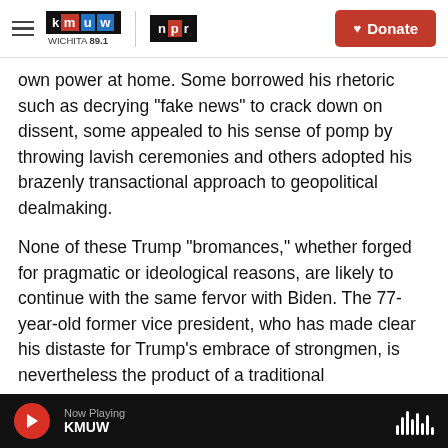KMUW WICHITA 89.1 | NPR | Donate
own power at home. Some borrowed his rhetoric such as decrying "fake news" to crack down on dissent, some appealed to his sense of pomp by throwing lavish ceremonies and others adopted his brazenly transactional approach to geopolitical dealmaking.
None of these Trump "bromances," whether forged for pragmatic or ideological reasons, are likely to continue with the same fervor with Biden. The 77-year-old former vice president, who has made clear his distaste for Trump's embrace of strongmen, is nevertheless the product of a traditional
Now Playing KMUW